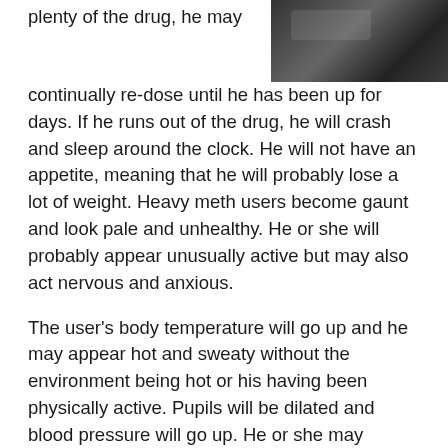[Figure (photo): Black and white photograph, partially visible at top right corner of page]
plenty of the drug, he may continually re-dose until he has been up for days. If he runs out of the drug, he will crash and sleep around the clock. He will not have an appetite, meaning that he will probably lose a lot of weight. Heavy meth users become gaunt and look pale and unhealthy. He or she will probably appear unusually active but may also act nervous and anxious.
The user's body temperature will go up and he may appear hot and sweaty without the environment being hot or his having been physically active. Pupils will be dilated and blood pressure will go up. He or she may become sexually excited.
Meth abuse results in the following adverse effects:
Cardiovascular effects: